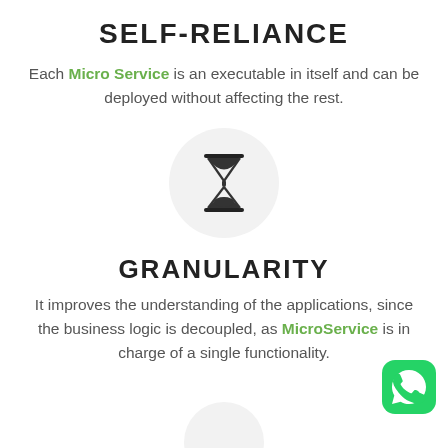SELF-RELIANCE
Each Micro Service is an executable in itself and can be deployed without affecting the rest.
[Figure (illustration): An hourglass icon centered inside a light gray circle]
GRANULARITY
It improves the understanding of the applications, since the business logic is decoupled, as MicroService is in charge of a single functionality.
[Figure (logo): WhatsApp green icon in the bottom right corner]